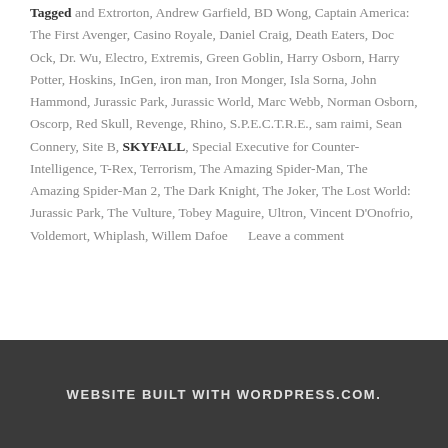Tagged and Extrorton, Andrew Garfield, BD Wong, Captain America: The First Avenger, Casino Royale, Daniel Craig, Death Eaters, Doc Ock, Dr. Wu, Electro, Extremis, Green Goblin, Harry Osborn, Harry Potter, Hoskins, InGen, iron man, Iron Monger, Isla Sorna, John Hammond, Jurassic Park, Jurassic World, Marc Webb, Norman Osborn, Oscorp, Red Skull, Revenge, Rhino, S.P.E.C.T.R.E., sam raimi, Sean Connery, Site B, SKYFALL, Special Executive for Counter-Intelligence, T-Rex, Terrorism, The Amazing Spider-Man, The Amazing Spider-Man 2, The Dark Knight, The Joker, The Lost World: Jurassic Park, The Vulture, Tobey Maguire, Ultron, Vincent D'Onofrio, Voldemort, Whiplash, Willem Dafoe    Leave a comment
WEBSITE BUILT WITH WORDPRESS.COM.